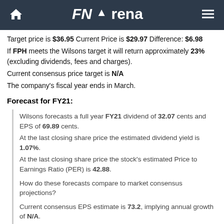FNArena
Target price is $36.95 Current Price is $29.97 Difference: $6.98
If FPH meets the Wilsons target it will return approximately 23% (excluding dividends, fees and charges).
Current consensus price target is N/A
The company's fiscal year ends in March.
Forecast for FY21:
Wilsons forecasts a full year FY21 dividend of 32.07 cents and EPS of 69.89 cents. At the last closing share price the estimated dividend yield is 1.07%. At the last closing share price the stock's estimated Price to Earnings Ratio (PER) is 42.88.
How do these forecasts compare to market consensus projections?
Current consensus EPS estimate is 73.2, implying annual growth of N/A. Current consensus DPS estimate is 37.9, implying a prospective dividend yield of 1.3%.